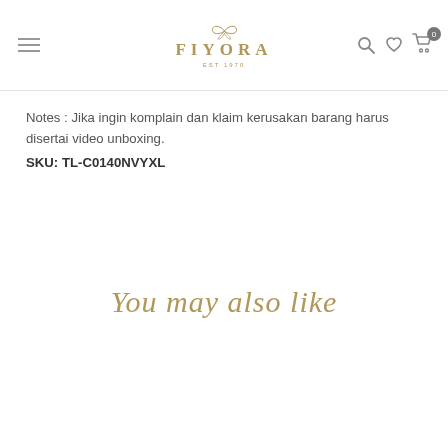FIYORA
Notes : Jika ingin komplain dan klaim kerusakan barang harus disertai video unboxing.
SKU: TL-C0140NVYXL
You may also like